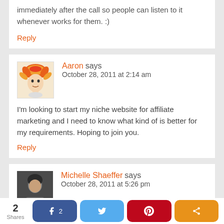immediately after the call so people can listen to it whenever works for them. :)
Reply
Aaron says
October 28, 2011 at 2:14 am
I'm looking to start my niche website for affiliate marketing and I need to know what kind of is better for my requirements. Hoping to join you.
Reply
Michelle Shaeffer says
October 28, 2011 at 5:26 pm
2 Shares